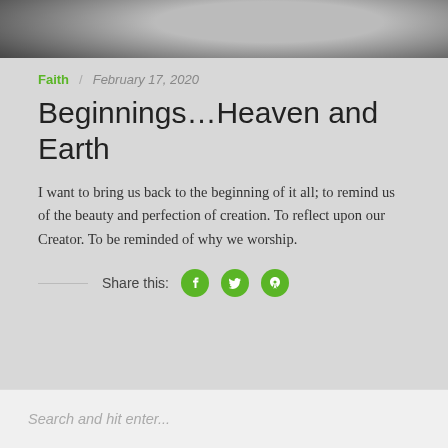[Figure (photo): Black and white abstract swirl or aerial photo, partially visible at top of page]
Faith / February 17, 2020
Beginnings...Heaven and Earth
I want to bring us back to the beginning of it all; to remind us of the beauty and perfection of creation. To reflect upon our Creator. To be reminded of why we worship.
Share this: [Facebook] [Twitter] [Pinterest]
Search and hit enter...